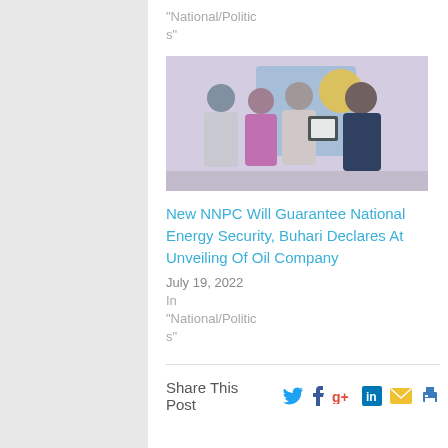"National/Politics"
[Figure (photo): Group of people at an award ceremony, one person handing a framed certificate to another]
New NNPC Will Guarantee National Energy Security, Buhari Declares At Unveiling Of Oil Company
July 19, 2022
In "National/Politics"
Share This Post